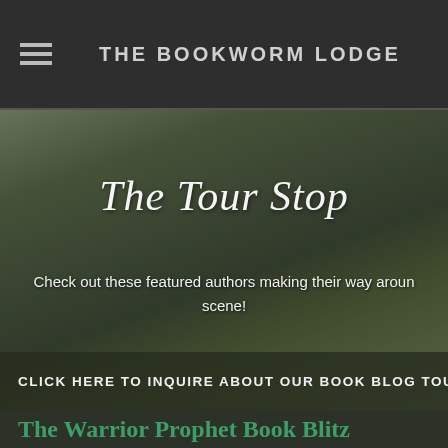THE BOOKWORM LODGE
The Tour Stop
Check out these featured authors making their way around the scene!
CLICK HERE TO INQUIRE ABOUT OUR BOOK BLOG TOUR
The Warrior Prophet Book Blitz